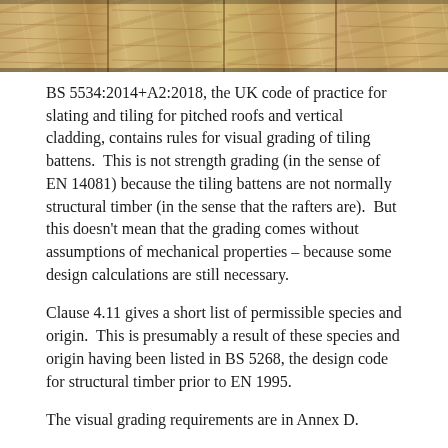[Figure (photo): Close-up photograph of stacked timber/wood battens showing grain and texture, viewed from the end/side]
BS 5534:2014+A2:2018, the UK code of practice for slating and tiling for pitched roofs and vertical cladding, contains rules for visual grading of tiling battens.  This is not strength grading (in the sense of EN 14081) because the tiling battens are not normally structural timber (in the sense that the rafters are).  But this doesn't mean that the grading comes without assumptions of mechanical properties – because some design calculations are still necessary.
Clause 4.11 gives a short list of permissible species and origin.  This is presumably a result of these species and origin having been listed in BS 5268, the design code for structural timber prior to EN 1995.
The visual grading requirements are in Annex D.
Minimum sizes are listed in Table 3, which works on the basis of span and type of tiling.  These minimum sizes apply